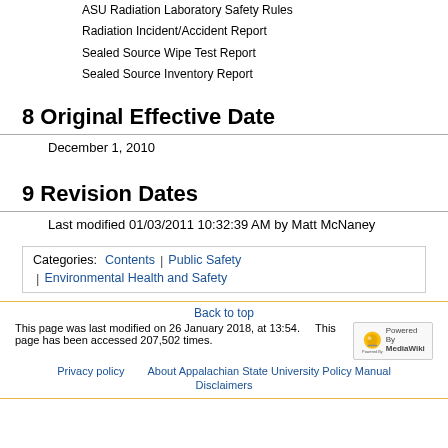ASU Radiation Laboratory Safety Rules
Radiation Incident/Accident Report
Sealed Source Wipe Test Report
Sealed Source Inventory Report
8 Original Effective Date
December 1, 2010
9 Revision Dates
Last modified 01/03/2011 10:32:39 AM by Matt McNaney
Categories:  Contents | Public Safety | Environmental Health and Safety
Back to top
This page was last modified on 26 January 2018, at 13:54. This page has been accessed 207,502 times.
Privacy policy  About Appalachian State University Policy Manual  Disclaimers